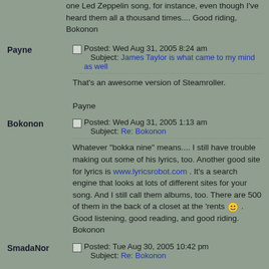one Led Zeppelin song, for instance, even though I've heard them all a thousand times.... Good riding, Bokonon
Payne
Posted: Wed Aug 31, 2005 8:24 am
Subject: James Taylor is what came to my mind as well
That's an awesome version of Steamroller.

Payne
Bokonon
Posted: Wed Aug 31, 2005 1:13 am
Subject: Re: Bokonon
Whatever "bokka nine" means.... I still have trouble making out some of his lyrics, too. Another good site for lyrics is www.lyricsrobot.com . It's a search engine that looks at lots of different sites for your song. And I still call them albums, too. There are 500 of them in the back of a closet at the 'rents :) . Good listening, good reading, and good riding. Bokonon
SmadaNor
Posted: Tue Aug 30, 2005 10:42 pm
Subject: Re: Bokonon